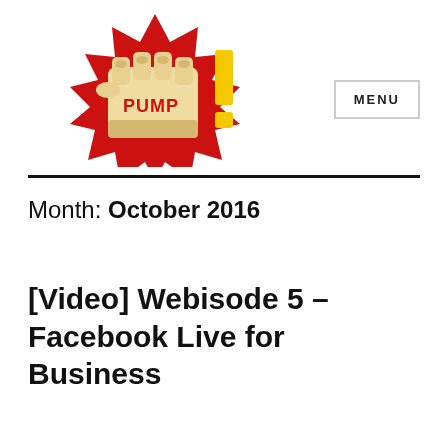[Figure (logo): PUMP! logo with a comic-style fist punch illustration in red and yellow starburst, text 'PUMP!' on the fist in red letters]
MENU
Month: October 2016
[Video] Webisode 5 – Facebook Live for Business